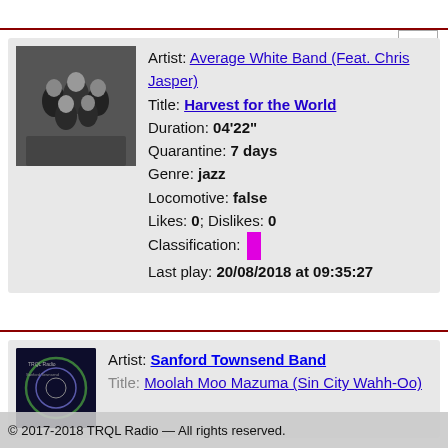[Figure (photo): Black and white photo of a music group (Average White Band)]
Artist: Average White Band (Feat. Chris Jasper)
Title: Harvest for the World
Duration: 04'22"
Quarantine: 7 days
Genre: jazz
Locomotive: false
Likes: 0; Dislikes: 0
Classification: [magenta bar]
Last play: 20/08/2018 at 09:35:27
[Figure (photo): Album art for Sanford Townsend Band - dark circular graphic]
Artist: Sanford Townsend Band
Title: Moolah Moo Mazuma (Sin City Wahh-Oo)
© 2017-2018 TRQL Radio — All rights reserved.